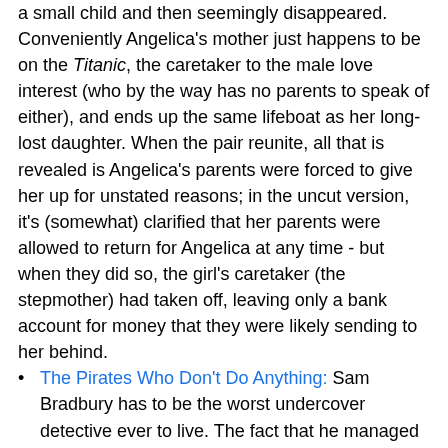a small child and then seemingly disappeared. Conveniently Angelica's mother just happens to be on the Titanic, the caretaker to the male love interest (who by the way has no parents to speak of either), and ends up the same lifeboat as her long-lost daughter. When the pair reunite, all that is revealed is Angelica's parents were forced to give her up for unstated reasons; in the uncut version, it's (somewhat) clarified that her parents were allowed to return for Angelica at any time - but when they did so, the girl's caretaker (the stepmother) had taken off, leaving only a bank account for money that they were likely sending to her behind.
The Pirates Who Don't Do Anything: Sam Bradbury has to be the worst undercover detective ever to live. The fact that he managed to get an award for solving a crime he did bugger-all to solve at the end of the movie is baffling. There's even an instance where a woman's valuables have disappeared (or more likely stolen) and he pops up saying "Not to worry, I saw everything." There's also the